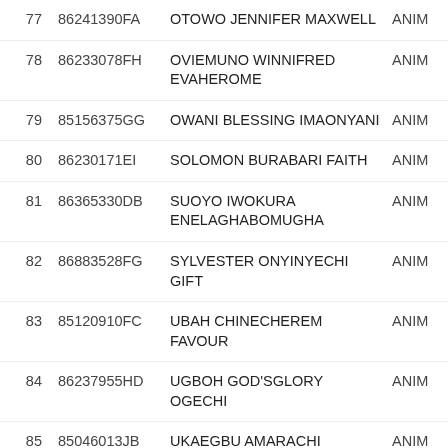| # | CODE | NAME | DEPT |
| --- | --- | --- | --- |
| 77 | 86241390FA | OTOWO JENNIFER MAXWELL | ANIM |
| 78 | 86233078FH | OVIEMUNO WINNIFRED EVAHEROME | ANIM |
| 79 | 85156375GG | OWANI BLESSING IMAONYANI | ANIM |
| 80 | 86230171EI | SOLOMON BURABARI FAITH | ANIM |
| 81 | 86365330DB | SUOYO IWOKURA ENELAGHABOMUGHA | ANIM |
| 82 | 86883528FG | SYLVESTER ONYINYECHI GIFT | ANIM |
| 83 | 85120910FC | UBAH CHINECHEREM FAVOUR | ANIM |
| 84 | 86237955HD | UGBOH GOD'SGLORY OGECHI | ANIM |
| 85 | 85046013JB | UKAEGBU AMARACHI BLESSING | ANIM |
| 86 | 86252356DF | WADI KINGSLEY UCHECHI | ANIM |
| 87 | 86232071HB | WOHA JOY CHILE | ANIM |